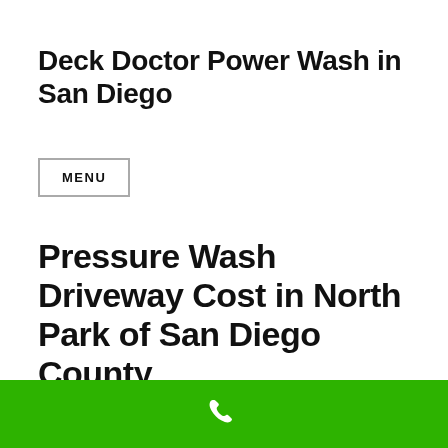Deck Doctor Power Wash in San Diego
MENU
Pressure Wash Driveway Cost in North Park of San Diego County
[Figure (photo): Partial photo of a driveway or surface being pressure washed, cropped at bottom]
[Figure (other): Green call-to-action bar at the bottom with a white phone icon]